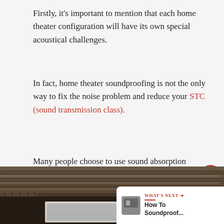Firstly, it's important to mention that each home theater configuration will have its own special acoustical challenges.
In fact, home theater soundproofing is not the only way to fix the noise problem and reduce your STC (sound transmission class).
Many people choose to use sound absorption materials instead. Sound absorption materials often used for soundproofing include absorbent acoustic panels and mass loaded barriers.
[Figure (photo): Interior photo of a home theater under construction showing wooden ceiling joists, metal tracks, recessed lighting, and a white projection screen frame, with a 'What's Next' overlay card showing 'How To Soundproof...' link]